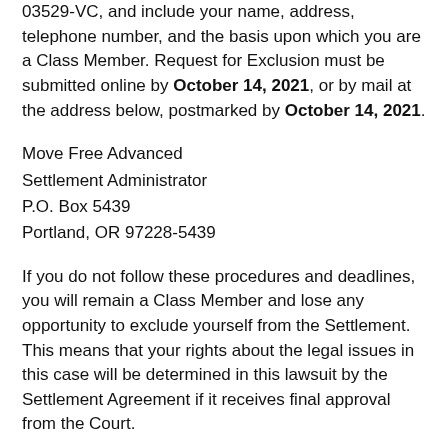03529-VC, and include your name, address, telephone number, and the basis upon which you are a Class Member. Request for Exclusion must be submitted online by October 14, 2021, or by mail at the address below, postmarked by October 14, 2021.
Move Free Advanced
Settlement Administrator
P.O. Box 5439
Portland, OR 97228-5439
If you do not follow these procedures and deadlines, you will remain a Class Member and lose any opportunity to exclude yourself from the Settlement. This means that your rights about the legal issues in this case will be determined in this lawsuit by the Settlement Agreement if it receives final approval from the Court.